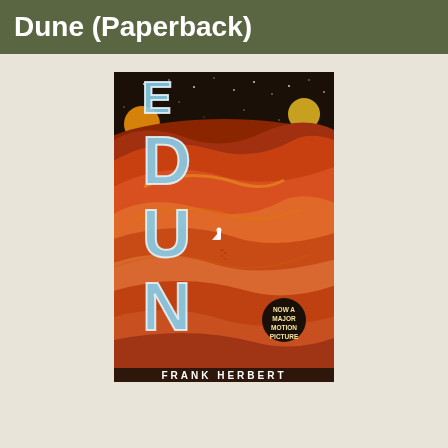Dune (Paperback)
[Figure (illustration): Book cover of Dune by Frank Herbert. Shows dramatic desert dunes in shades of orange and red under a dark starry night sky with two moons. The title DUNE is displayed vertically in large white/blue outlined letters. A small figure in a white robe stands on a dune. A black circular badge reads 'NOW A MAJOR MOTION PICTURE'. At the bottom the author name FRANK HERBERT begins to appear.]